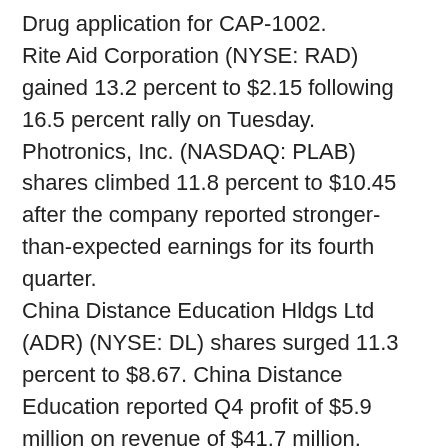Drug application for CAP-1002. Rite Aid Corporation (NYSE: RAD) gained 13.2 percent to $2.15 following 16.5 percent rally on Tuesday. Photronics, Inc. (NASDAQ: PLAB) shares climbed 11.8 percent to $10.45 after the company reported stronger-than-expected earnings for its fourth quarter. China Distance Education Hldgs Ltd (ADR) (NYSE: DL) shares surged 11.3 percent to $8.67. China Distance Education reported Q4 profit of $5.9 million on revenue of $41.7 million. Cytokinetics, Inc. (NASDAQ: CYTK) shares gained 11 percent to $8.05 after falling 7.05 percent on Tuesday. Ooma Inc (NYSE: OOMA) shares surged 8.5 percent to $10.85 as the company posted strong Q3 results. Nuance Communications Inc. (NASDAQ: NUAN) climbed 8 percent to $17.12 after the company reported stronger-than-expected results for its fourth